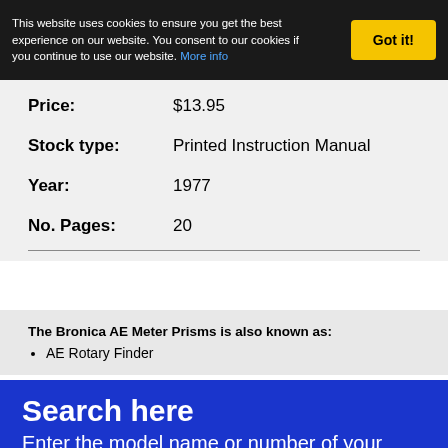This website uses cookies to ensure you get the best experience on our website. You consent to our cookies if you continue to use our website. More info
| Price: | $13.95 |
| Stock type: | Printed Instruction Manual |
| Year: | 1977 |
| No. Pages: | 20 |
The Bronica AE Meter Prisms is also known as:
AE Rotary Finder
Search here
Enter the model name or number of your camera: